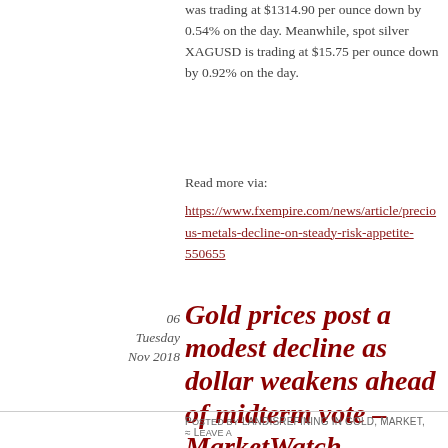was trading at $1314.90 per ounce down by 0.54% on the day. Meanwhile, spot silver XAGUSD is trading at $15.75 per ounce down by 0.92% on the day.
Read more via:
https://www.fxempire.com/news/article/precious-metals-decline-on-steady-risk-appetite-550655
06
Tuesday
Nov 2018
Gold prices post a modest decline as dollar weakens ahead of midterm vote – MarketWatch
Posted by landisrefining in gold, market,   ≈ Leave a